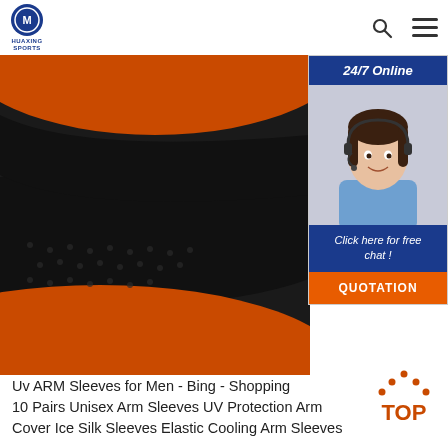HUAXING SPORTS
[Figure (photo): Close-up of black and orange textured fabric/material, likely a neoprene sports product with mesh dotted pattern]
[Figure (photo): 24/7 Online chat widget with a smiling female customer service agent wearing a headset. Includes 'Click here for free chat!' text and an orange QUOTATION button.]
[Figure (logo): Red TOP badge with dots and arrow pointing up]
Uv ARM Sleeves for Men - Bing - Shopping
10 Pairs Unisex Arm Sleeves UV Protection Arm Cover Ice Silk Sleeves Elastic Cooling Arm Sleeves